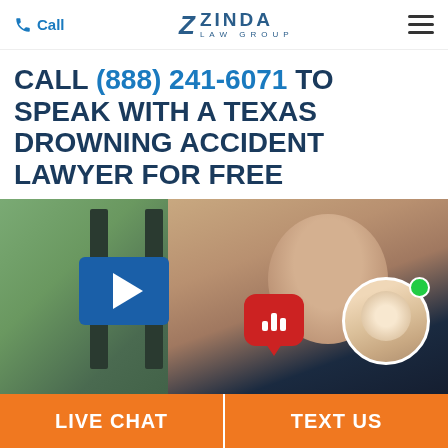Call | ZINDA LAW GROUP
CALL (888) 241-6071 TO SPEAK WITH A TEXAS DROWNING ACCIDENT LAWYER FOR FREE
[Figure (screenshot): Video thumbnail showing a man in a suit, with a blue play button overlay, a red chat bubble with bars icon, and a circular avatar of a blonde woman with headset and green online indicator dot]
LIVE CHAT
TEXT US